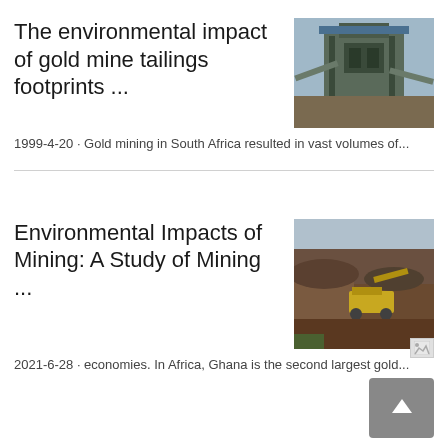The environmental impact of gold mine tailings footprints ...
1999-4-20 · Gold mining in South Africa resulted in vast volumes of...
[Figure (photo): Industrial mining facility with large structure and conveyor belts]
Environmental Impacts of Mining: A Study of Mining ...
2021-6-28 · economies. In Africa, Ghana is the second largest gold...
[Figure (photo): Aerial view of open-pit mining site with heavy machinery and excavated terrain]